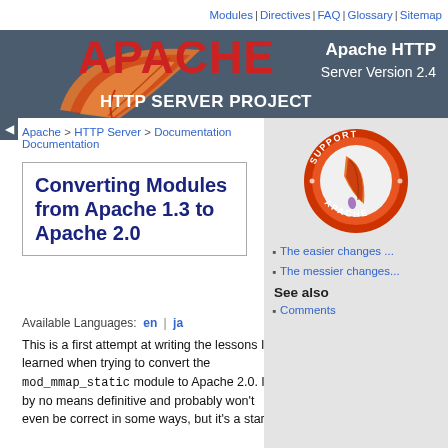Modules | Directives | FAQ | Glossary | Sitemap
[Figure (logo): Apache HTTP Server Project banner with feather logo and red APACHE text on dark background. Apache HTTP Server Version 2.4]
Apache > HTTP Server > Documentation
Converting Modules from Apache 1.3 to Apache 2.0
Available Languages: en | ja
[Figure (logo): Support Apache circular badge with feather]
The easier changes ...
The messier changes...
See also
Comments
This is a first attempt at writing the lessons I learned when trying to convert the mod_mmap_static module to Apache 2.0. It's by no means definitive and probably won't even be correct in some ways, but it's a start.